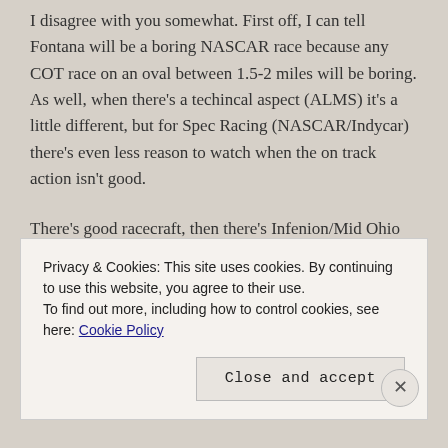I disagree with you somewhat. First off, I can tell Fontana will be a boring NASCAR race because any COT race on an oval between 1.5-2 miles will be boring. As well, when there's a techincal aspect (ALMS) it's a little different, but for Spec Racing (NASCAR/Indycar) there's even less reason to watch when the on track action isn't good.
There's good racecraft, then there's Infenion/Mid Ohio Indycar. Cars still need to be able to pass to have an interesting race. But, then again, some of the
Privacy & Cookies: This site uses cookies. By continuing to use this website, you agree to their use.
To find out more, including how to control cookies, see here: Cookie Policy